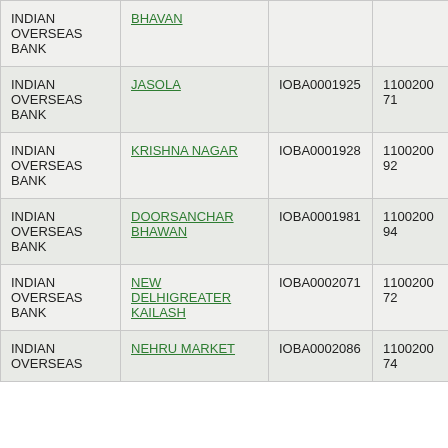| Bank | Branch | IFSC | MICR |
| --- | --- | --- | --- |
| INDIAN OVERSEAS BANK | BHAVAN |  |  |
| INDIAN OVERSEAS BANK | JASOLA | IOBA0001925 | 110020071 |
| INDIAN OVERSEAS BANK | KRISHNA NAGAR | IOBA0001928 | 110020092 |
| INDIAN OVERSEAS BANK | DOORSANCHAR BHAWAN | IOBA0001981 | 110020094 |
| INDIAN OVERSEAS BANK | NEW DELHIGREATER KAILASH | IOBA0002071 | 110020072 |
| INDIAN OVERSEAS BANK | NEHRU MARKET | IOBA0002086 | 110020074 |